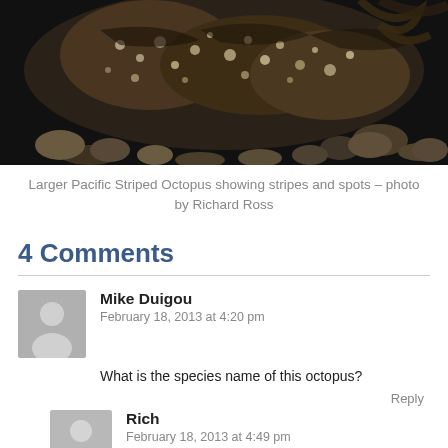[Figure (photo): Close-up photograph of a Larger Pacific Striped Octopus showing its textured skin with stripes and spots against a dark background with rocks and debris]
Larger Pacific Striped Octopus showing stripes and spots – photo by Richard Ross
4 Comments
Mike Duigou
February 18, 2013 at 4:20 pm
What is the species name of this octopus?
Reply
Rich
February 18, 2013 at 4:49 pm
It is currently undescribed – form the press release